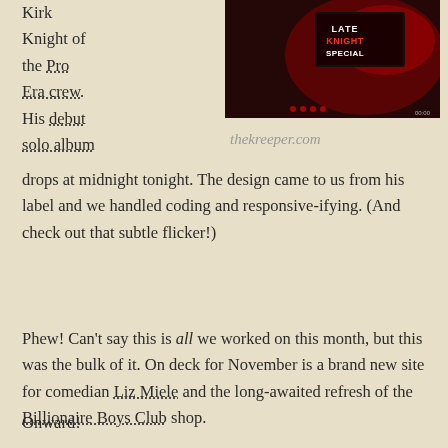Kirk Knight of the Pro Era crew. His debut solo album drops at midnight tonight. The design came to us from his label and we handled coding and responsive-ifying. (And check out that subtle flicker!)
[Figure (photo): Dark red-toned promotional photo showing 'Late Knight Special' neon sign/text in a dark setting]
thekreeper.com
Phew! Can't say this is all we worked on this month, but this was the bulk of it. On deck for November is a brand new site for comedian Liz Miele and the long-awaited refresh of the Billionaire Boys Club shop.
Onward!